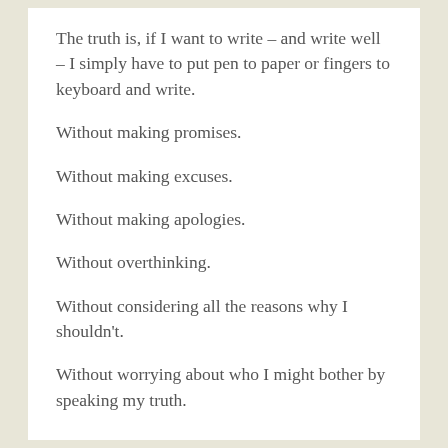The truth is, if I want to write – and write well – I simply have to put pen to paper or fingers to keyboard and write.
Without making promises.
Without making excuses.
Without making apologies.
Without overthinking.
Without considering all the reasons why I shouldn't.
Without worrying about who I might bother by speaking my truth.